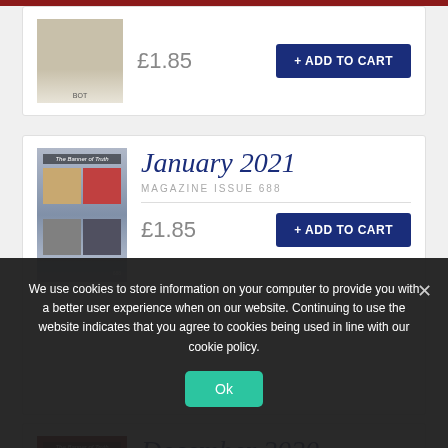[Figure (other): Top product card showing a magazine cover thumbnail, price £1.85, and Add to Cart button]
[Figure (other): January 2021 magazine issue 688 product card with cover image, price £1.85, and Add to Cart button]
January 2021
MAGAZINE ISSUE 688
£1.85
[Figure (other): December 2020 magazine issue 687 product card with red cover image]
December 2020
MAGAZINE ISSUE 687
We use cookies to store information on your computer to provide you with a better user experience when on our website. Continuing to use the website indicates that you agree to cookies being used in line with our cookie policy.
Ok